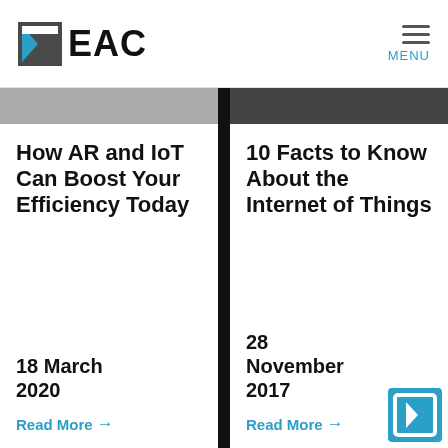EAC — MENU
How AR and IoT Can Boost Your Efficiency Today
18 March 2020
Read More →
10 Facts to Know About the Internet of Things
28 November 2017
Read More →